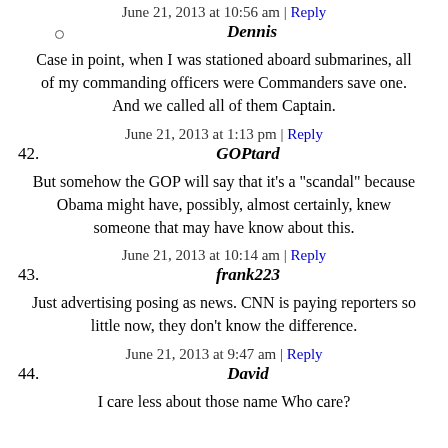June 21, 2013 at 10:56 am | Reply
Dennis
Case in point, when I was stationed aboard submarines, all of my commanding officers were Commanders save one. And we called all of them Captain.
June 21, 2013 at 1:13 pm | Reply
42. GOPtard
But somehow the GOP will say that it's a "scandal" because Obama might have, possibly, almost certainly, knew someone that may have know about this.
June 21, 2013 at 10:14 am | Reply
43. frank223
Just advertising posing as news. CNN is paying reporters so little now, they don't know the difference.
June 21, 2013 at 9:47 am | Reply
44. David
I care less about those name Who care?